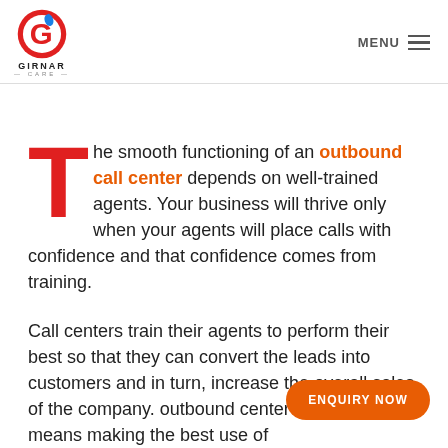GIRNAR CARE — MENU
The smooth functioning of an outbound call center depends on well-trained agents. Your business will thrive only when your agents will place calls with confidence and that confidence comes from training.
Call centers train their agents to perform their best so that they can convert the leads into customers and in turn, increase the overall sales of the company. outbound center up-to-date means making the best use of